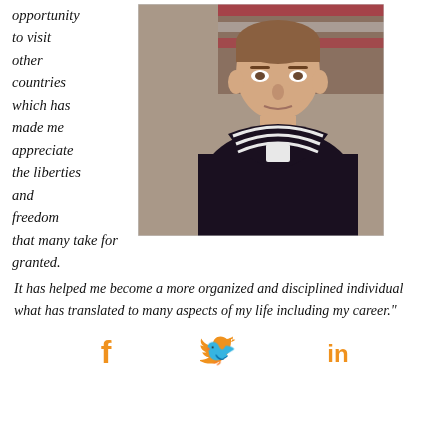opportunity to visit other countries which has made me appreciate the liberties and freedom that many take for granted.
[Figure (photo): Portrait photo of a young man in a dark navy sailor uniform with white striped collar, with an American flag in the background.]
It has helped me become a more organized and disciplined individual what has translated to many aspects of my life including my career."
[Figure (infographic): Social media icons: Facebook (f), Twitter (bird), LinkedIn (in) in orange color]